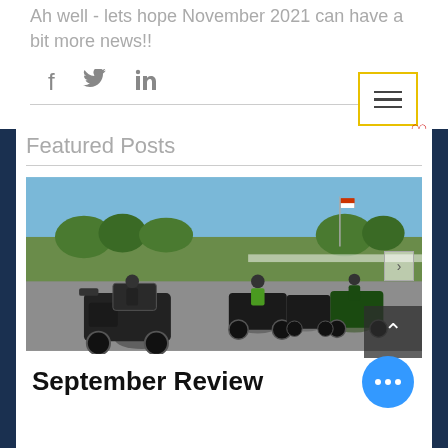Ah well - lets hope November 2021 can have a bit more news!!
[Figure (screenshot): Social media share icons: Facebook, Twitter, LinkedIn]
[Figure (screenshot): Hamburger menu icon in yellow border with red heart icon]
Featured Posts
[Figure (photo): Group of motorcyclists and motorcycles parked in a lot on a sunny day with blue sky and trees in background]
September Review
[Figure (other): Blue circular button with three white dots (more options)]